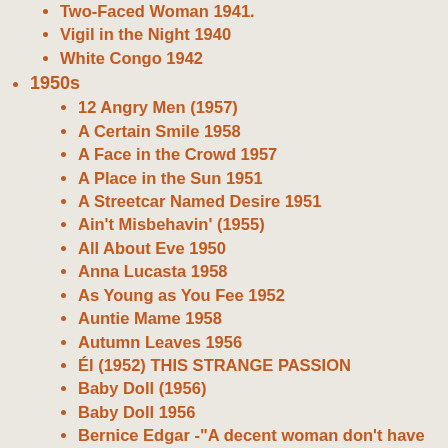Two-Faced Woman 1941.
Vigil in the Night 1940
White Congo 1942
1950s
12 Angry Men (1957)
A Certain Smile 1958
A Face in the Crowd 1957
A Place in the Sun 1951
A Streetcar Named Desire 1951
Ain't Misbehavin' (1955)
All About Eve 1950
Anna Lucasta 1958
As Young as You Fee 1952
Auntie Mame 1958
Autumn Leaves 1956
Él (1952) THIS STRANGE PASSION
Baby Doll (1956)
Baby Doll 1956
Bernice Edgar -"A decent woman don't have need for any man."
Bigger Than Life 1956
Blue Denim 1959
Born Reckless 1958
Bus Stop (1956)
Captain Lightfoot 1955